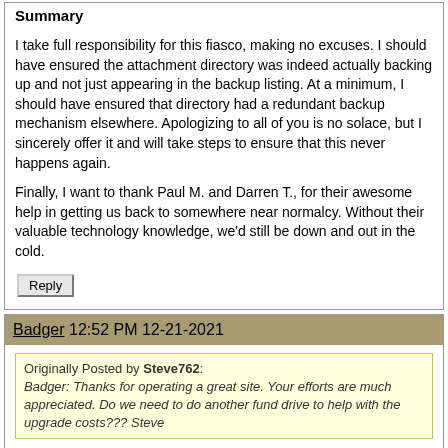Summary
I take full responsibility for this fiasco, making no excuses. I should have ensured the attachment directory was indeed actually backing up and not just appearing in the backup listing. At a minimum, I should have ensured that directory had a redundant backup mechanism elsewhere. Apologizing to all of you is no solace, but I sincerely offer it and will take steps to ensure that this never happens again.
Finally, I want to thank Paul M. and Darren T., for their awesome help in getting us back to somewhere near normalcy. Without their valuable technology knowledge, we'd still be down and out in the cold.
Reply
Badger 12:52 PM 12-21-2021
Originally Posted by Steve762: Badger: Thanks for operating a great site. Your efforts are much appreciated. Do we need to do another fund drive to help with the upgrade costs??? Steve
Thank you for the offer Steve, but we're all good. Nothing needed!
[Figure (illustration): Three emoji: smiley face, beer mug, beer mug and smiley face]
I was shocked at how many members have made a similar offer.
What a fantastic group of people.
Regards,